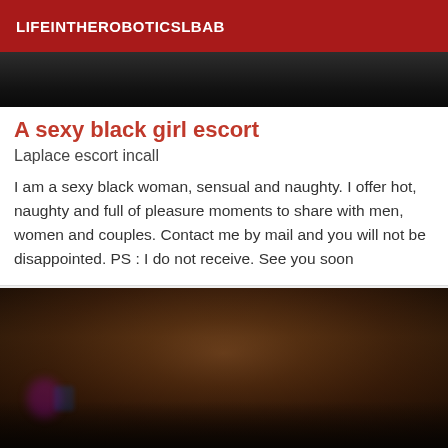LIFEINTHEROBOTICSLBAB
[Figure (photo): Dark close-up photo, top portion of a figure, very dark tones]
A sexy black girl escort
Laplace escort incall
I am a sexy black woman, sensual and naughty. I offer hot, naughty and full of pleasure moments to share with men, women and couples. Contact me by mail and you will not be disappointed. PS : I do not receive. See you soon
[Figure (photo): Close-up photo of dark-skinned hand/knuckles with colorful accessories at the bottom]